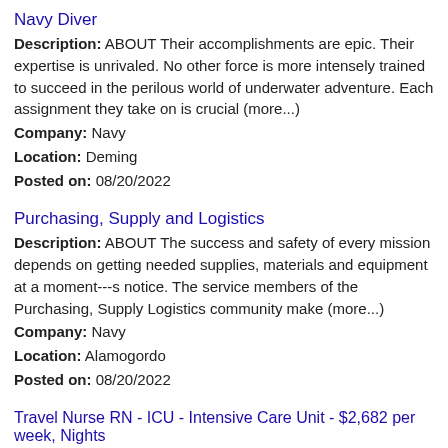Navy Diver
Description: ABOUT Their accomplishments are epic. Their expertise is unrivaled. No other force is more intensely trained to succeed in the perilous world of underwater adventure. Each assignment they take on is crucial (more...)
Company: Navy
Location: Deming
Posted on: 08/20/2022
Purchasing, Supply and Logistics
Description: ABOUT The success and safety of every mission depends on getting needed supplies, materials and equipment at a moment---s notice. The service members of the Purchasing, Supply Logistics community make (more...)
Company: Navy
Location: Alamogordo
Posted on: 08/20/2022
Travel Nurse RN - ICU - Intensive Care Unit - $2,682 per week, Nights
Description: Amare Medical Network is seeking a travel nurse RN ICU - Intensive Care Unit for a travel nursing job in Silver City, New...